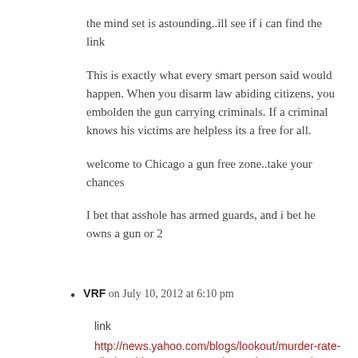the mind set is astounding..ill see if i can find the link
This is exactly what every smart person said would happen. When you disarm law abiding citizens, you embolden the gun carrying criminals. If a criminal knows his victims are helpless its a free for all.
welcome to Chicago a gun free zone..take your chances
I bet that asshole has armed guards, and i bet he owns a gun or 2
VRF on July 10, 2012 at 6:10 pm
link
http://news.yahoo.com/blogs/lookout/murder-rate-climbs-chicago-mayor-makes-values-appeal-161727694.html